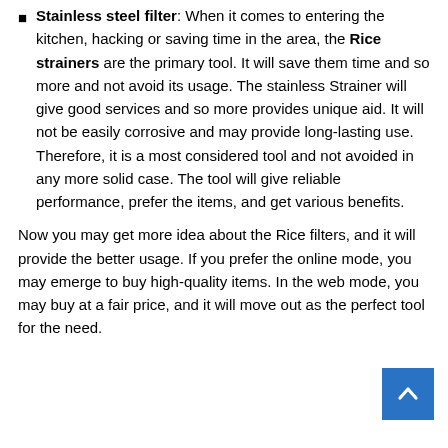Stainless steel filter: When it comes to entering the kitchen, hacking or saving time in the area, the Rice strainers are the primary tool. It will save them time and so more and not avoid its usage. The stainless Strainer will give good services and so more provides unique aid. It will not be easily corrosive and may provide long-lasting use. Therefore, it is a most considered tool and not avoided in any more solid case. The tool will give reliable performance, prefer the items, and get various benefits.
Now you may get more idea about the Rice filters, and it will provide the better usage. If you prefer the online mode, you may emerge to buy high-quality items. In the web mode, you may buy at a fair price, and it will move out as the perfect tool for the need.